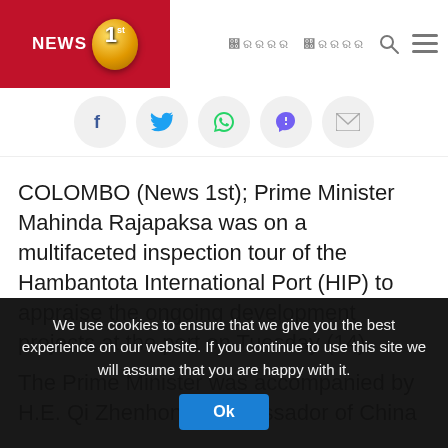News 1st logo and navigation bar with Sinhala text links, search and menu icons
[Figure (logo): News 1st logo: red background with NEWS text, gold circle with number 1 and 'st' superscript]
[Figure (infographic): Social sharing icons in circles: Facebook, Twitter, WhatsApp, Viber/chat, Email]
COLOMBO (News 1st); Prime Minister Mahinda Rajapaksa was on a multifaceted inspection tour of the Hambantota International Port (HIP) to appraise the ongoing development projects at the port on Tuesday (14).
The Prime Minister was accompanied by H.E. Qi Zhenhong, Ambassador of China to Sri
We use cookies to ensure that we give you the best experience on our website. If you continue to use this site we will assume that you are happy with it.